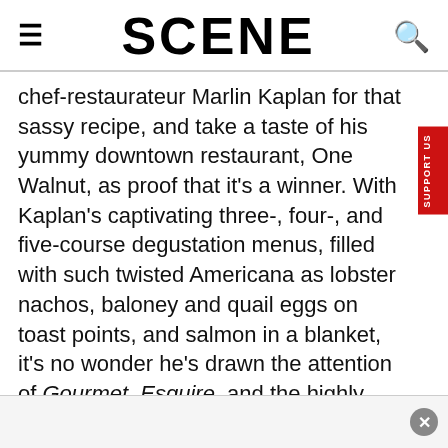≡  SCENE  🔍
chef-restaurateur Marlin Kaplan for that sassy recipe, and take a taste of his yummy downtown restaurant, One Walnut, as proof that it's a winner. With Kaplan's captivating three-, four-, and five-course degustation menus, filled with such twisted Americana as lobster nachos, baloney and quail eggs on toast points, and salmon in a blanket, it's no wonder he's drawn the attention of Gourmet, Esquire, and the highly ranked food wonks at the Big Apple's James Beard House. But who needs an out-of-towner to tell us what's good close to home? For our to the